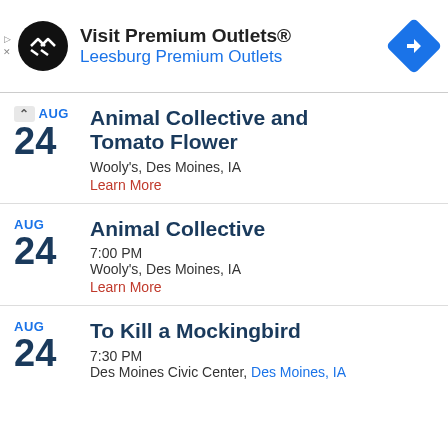[Figure (other): Advertisement banner for Visit Premium Outlets / Leesburg Premium Outlets with circular black logo and blue navigation diamond icon]
AUG 24 – Animal Collective and Tomato Flower
Wooly's, Des Moines, IA
Learn More
AUG 24 – Animal Collective
7:00 PM
Wooly's, Des Moines, IA
Learn More
AUG 24 – To Kill a Mockingbird
7:30 PM
Des Moines Civic Center, Des Moines, IA